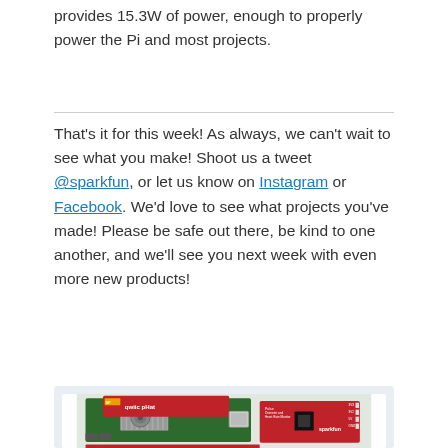provides 15.3W of power, enough to properly power the Pi and most projects.
That's it for this week! As always, we can't wait to see what you make! Shoot us a tweet @sparkfun, or let us know on Instagram or Facebook. We'd love to see what projects you've made! Please be safe out there, be kind to one another, and we'll see you next week with even more new products!
[Figure (photo): Photo of SparkFun electronics boards including a red Qwiic pHat board mounted on a Raspberry Pi with a heatsink and fan, and a separate red SparkFun sensor breakout board visible to the right.]